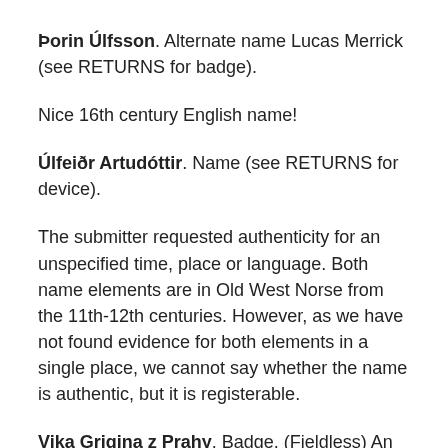Þorin Úlfsson. Alternate name Lucas Merrick (see RETURNS for badge).
Nice 16th century English name!
Úlfeiðr Artudóttir. Name (see RETURNS for device).
The submitter requested authenticity for an unspecified time, place or language. Both name elements are in Old West Norse from the 11th-12th centuries. However, as we have not found evidence for both elements in a single place, we cannot say whether the name is authentic, but it is registerable.
Vika Grigina z Prahy. Badge. (Fieldless) An estoile per pale azure and Or.